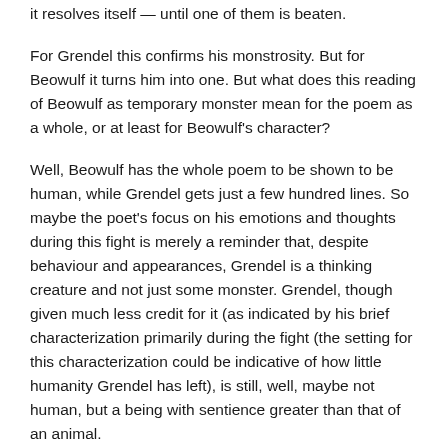it resolves itself — until one of them is beaten.
For Grendel this confirms his monstrosity. But for Beowulf it turns him into one. But what does this reading of Beowulf as temporary monster mean for the poem as a whole, or at least for Beowulf's character?
Well, Beowulf has the whole poem to be shown to be human, while Grendel gets just a few hundred lines. So maybe the poet's focus on his emotions and thoughts during this fight is merely a reminder that, despite behaviour and appearances, Grendel is a thinking creature and not just some monster. Grendel, though given much less credit for it (as indicated by his brief characterization primarily during the fight (the setting for this characterization could be indicative of how little humanity Grendel has left), is still, well, maybe not human, but a being with sentience greater than that of an animal.
Quick question: